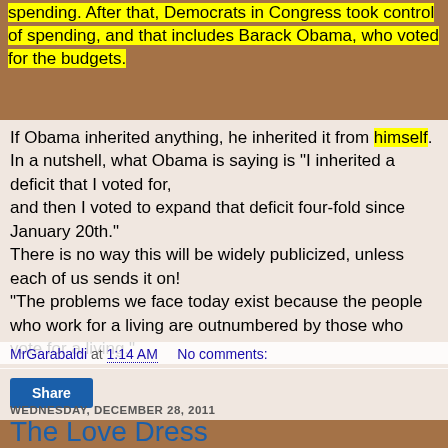spending. After that, Democrats in Congress took control of spending, and that includes Barack Obama, who voted for the budgets.
If Obama inherited anything, he inherited it from himself. In a nutshell, what Obama is saying is "I inherited a deficit that I voted for, and then I voted to expand that deficit four-fold since January 20th." There is no way this will be widely publicized, unless each of us sends it on! "The problems we face today exist because the people who work for a living are outnumbered by those who vote for a living."
MrGarabaldi at 1:14 AM   No comments:
Share
WEDNESDAY, DECEMBER 28, 2011
The Love Dress